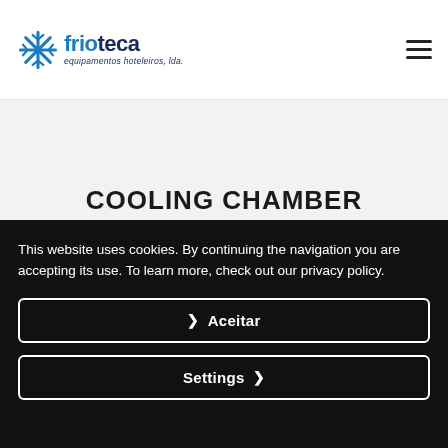frioteca equipamentos hoteleiros, lda.
COOLING CHAMBER
This website uses cookies. By continuing the navigation you are accepting its use. To learn more, check out our privacy policy.
❯  Aceitar
Settings  ❯